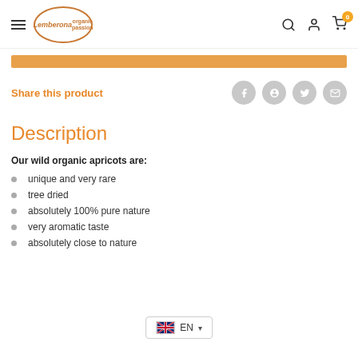Lemberona organic passion — navigation header with logo, search, account, cart icons
Share this product
Description
Our wild organic apricots are:
unique and very rare
tree dried
absolutely 100% pure nature
very aromatic taste
absolutely close to nature
EN